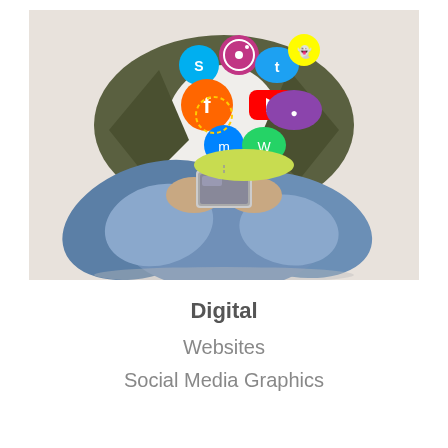[Figure (photo): Person sitting cross-legged on floor holding a smartphone, wearing jeans and an olive jacket, with colorful social media icons (Skype, Instagram, Twitter, Snapchat, Facebook, YouTube, Messenger, WhatsApp) floating above the phone.]
Digital
Websites
Social Media Graphics